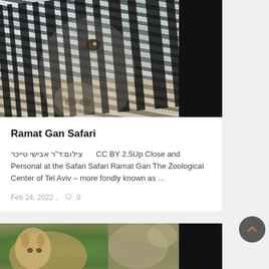[Figure (photo): Close-up photo of a zebra facing the camera, showing black and white stripes with its face prominent. Background shows dry savanna landscape.]
Ramat Gan Safari
צילום:ד"ר אבישי טייכר    CC BY 2.5Up Close and Personal at the Safari Safari Ramat Gan The Zoological Center of Tel Aviv – more fondly known as ...
Feb 24, 2022 , 🗨 0
[Figure (photo): Partial view of two animals — appears to be a small mammal (possibly a cat or fox) on the left and a reptile or rock texture on the right.]